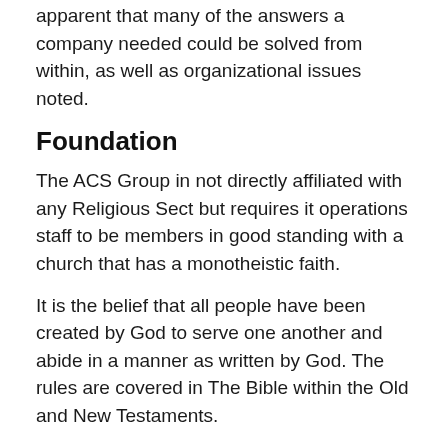apparent that many of the answers a company needed could be solved from within, as well as organizational issues noted.
Foundation
The ACS Group in not directly affiliated with any Religious Sect but requires it operations staff to be members in good standing with a church that has a monotheistic faith.
It is the belief that all people have been created by God to serve one another and abide in a manner as written by God. The rules are covered in The Bible within the Old and New Testaments.
A statement of Faith is required by staff and those awarded training.